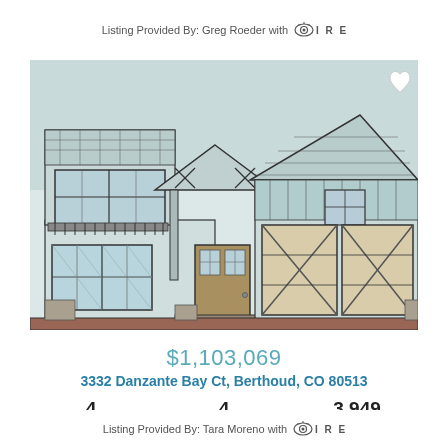Listing Provided By: Greg Roeder with IRES
[Figure (illustration): Architectural blueprint/elevation drawing of a two-story craftsman-style house with garage, balcony, and detailed structural annotations in blue/teal tones]
$1,103,069
3332 Danzante Bay Ct, Berthoud, CO 80513
4 Beds   4 Baths   3,949 SqFt
Listing Provided By: Tara Moreno with IRES